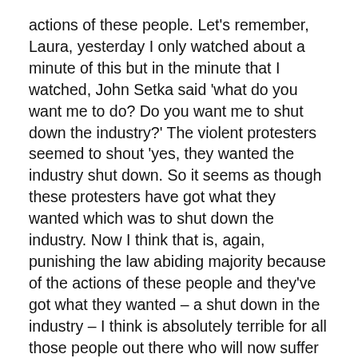actions of these people. Let's remember, Laura, yesterday I only watched about a minute of this but in the minute that I watched, John Setka said 'what do you want me to do? Do you want me to shut down the industry?' The violent protesters seemed to shout 'yes, they wanted the industry shut down. So it seems as though these protesters have got what they wanted which was to shut down the industry. Now I think that is, again, punishing the law abiding majority because of the actions of these people and they've got what they wanted – a shut down in the industry – I think is absolutely terrible for all those people out there who will now suffer for at least the next two weeks while they're unable to earn a living. I've even had cases today, Laura, of people – because of our lockdown rules – not being able to live in their own homes when critical renovations are being undertaken. They are now in Airbnb's and other temporary accommodation and their homes are no longer being worked on. So what do they do? They're scrambling now to try and extend their